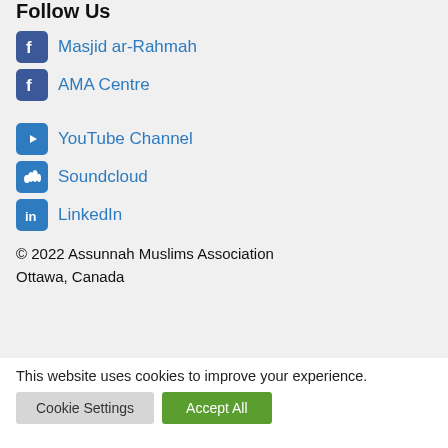Follow Us
Masjid ar-Rahmah
AMA Centre
YouTube Channel
Soundcloud
LinkedIn
© 2022 Assunnah Muslims Association Ottawa, Canada
This website uses cookies to improve your experience.
Cookie Settings  Accept All